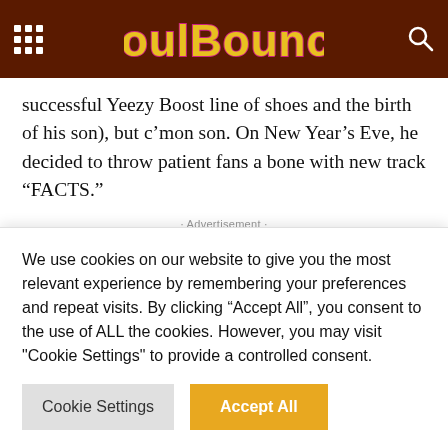SoulBounce
successful Yeezy Boost line of shoes and the birth of his son), but c’mon son. On New Year’s Eve, he decided to throw patient fans a bone with new track “FACTS.”
· Advertisement ·
The Metro Boomin’-produced joint finds ‘Ye
We use cookies on our website to give you the most relevant experience by remembering your preferences and repeat visits. By clicking “Accept All”, you consent to the use of ALL the cookies. However, you may visit "Cookie Settings" to provide a controlled consent.